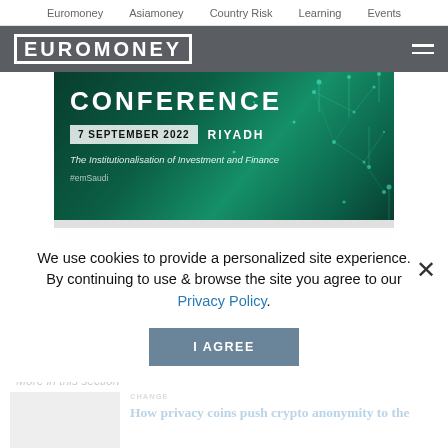Euromoney  Asiamoney  Country Risk  Learning  Events
[Figure (logo): Euromoney logo with hamburger menu on dark grey header bar]
[Figure (illustration): Conference banner: CONFERENCE, 7 SEPTEMBER 2022, RIYADH, The Institutionalisation of Investment and Finance, #emSaudi — dark teal/green digital network background]
We use cookies to provide a personalized site experience.
By continuing to use & browse the site you agree to our Privacy Policy.
I AGREE
More in this section
How privacy coins push crypto anonymity to the